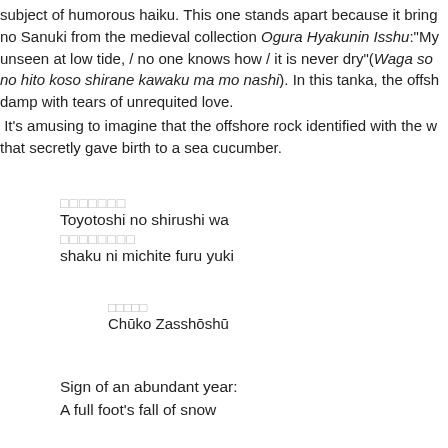subject of humorous haiku. This one stands apart because it brings in Fujiwara no Sanuki from the medieval collection Ogara Hyakunin Isshu: "My sleeve, unseen at low tide, / no one knows how / it is never dry" (Waga sode wa shiohi no hito koso shirane kawaku ma mo nashi). In this tanka, the offshore rock is damp with tears of unrequited love.
 It's amusing to imagine that the offshore rock identified with the woman in the poem that secretly gave birth to a sea cucumber.
□□□□□□□
Toyotoshi no shirushi wa
□□□□□□□□
shaku ni michite furu yuki
□□□□□
Chūko Zasshōshū
Sign of an abundant year:
A full foot's fall of snow